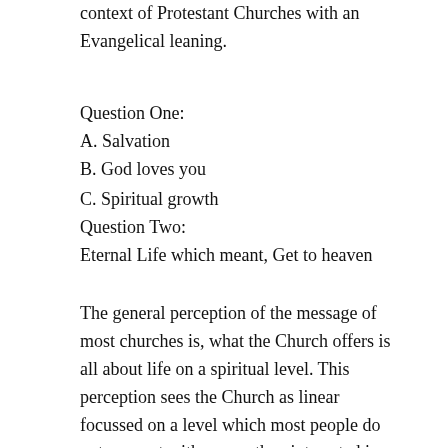context of Protestant Churches with an Evangelical leaning.
Question One:
A. Salvation
B. God loves you
C. Spiritual growth
Question Two:
Eternal Life which meant, Get to heaven
The general perception of the message of most churches is, what the Church offers is all about life on a spiritual level. This perception sees the Church as linear focussed on a level which most people do not connect with, or are they interested in. There is no message to market match and therefore, limited influence and